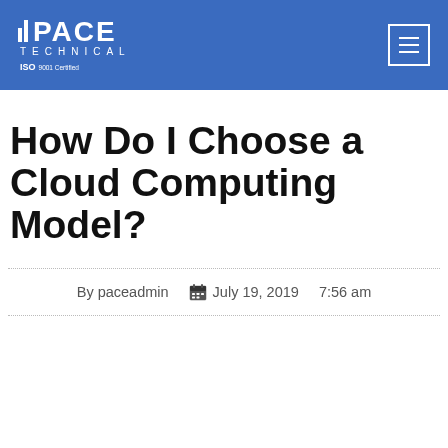PACE TECHNICAL — ISO 9001 Certified — Navigation menu button
How Do I Choose a Cloud Computing Model?
By paceadmin   July 19, 2019   7:56 am